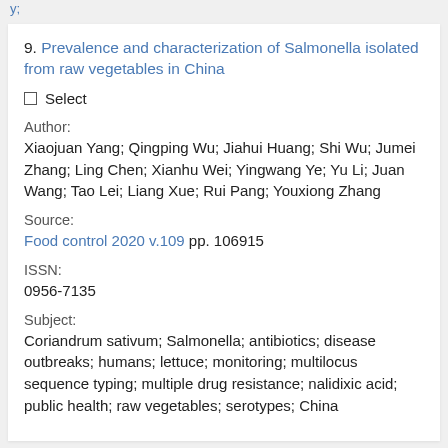9. Prevalence and characterization of Salmonella isolated from raw vegetables in China
Select
Author:
Xiaojuan Yang; Qingping Wu; Jiahui Huang; Shi Wu; Jumei Zhang; Ling Chen; Xianhu Wei; Yingwang Ye; Yu Li; Juan Wang; Tao Lei; Liang Xue; Rui Pang; Youxiong Zhang
Source:
Food control 2020 v.109 pp. 106915
ISSN:
0956-7135
Subject:
Coriandrum sativum; Salmonella; antibiotics; disease outbreaks; humans; lettuce; monitoring; multilocus sequence typing; multiple drug resistance; nalidixic acid; public health; raw vegetables; serotypes; China